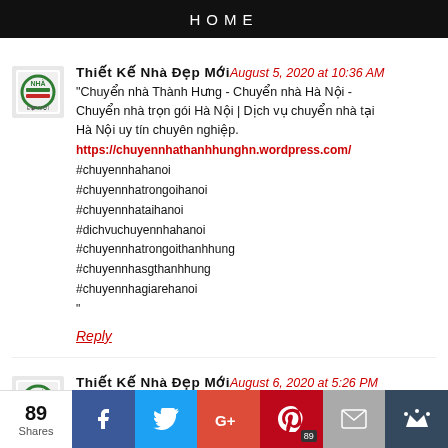HOME
Thiết Kế Nhà Đẹp Mới August 5, 2020 at 10:36 AM
"Chuyển nhà Thành Hưng - Chuyển nhà Hà Nội - Chuyển nhà trọn gói Hà Nội | Dịch vụ chuyển nhà tại Hà Nội uy tín chuyên nghiệp.
https://chuyennhathanhhunghn.wordpress.com/
#chuyennhahanoi
#chuyennhatrongoihanoi
#chuyennhataihanoi
#dichvuchuyennhahanoi
#chuyennhatrongoithanhhung
#chuyennhasgthanhhung
#chuyennhagiarehanoi
"
Reply
Thiết Kế Nhà Đẹp Mới August 6, 2020 at 5:26 PM